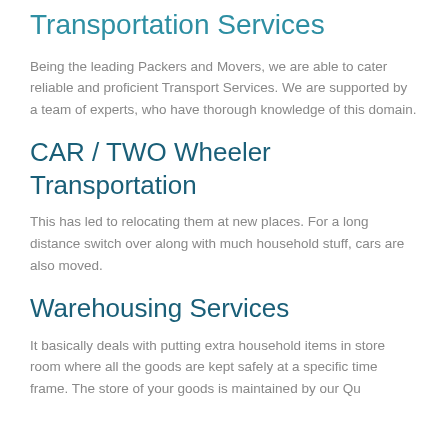Transportation Services
Being the leading Packers and Movers, we are able to cater reliable and proficient Transport Services. We are supported by a team of experts, who have thorough knowledge of this domain.
CAR / TWO Wheeler Transportation
This has led to relocating them at new places. For a long distance switch over along with much household stuff, cars are also moved.
Warehousing Services
It basically deals with putting extra household items in store room where all the goods are kept safely at a specific time frame. The store of your goods is maintained by our Quality...